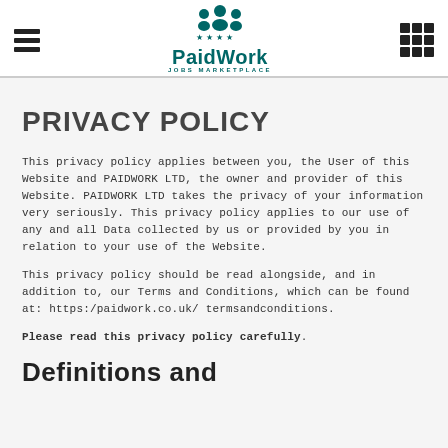PaidWork Jobs Marketplace
PRIVACY POLICY
This privacy policy applies between you, the User of this Website and PAIDWORK LTD, the owner and provider of this Website. PAIDWORK LTD takes the privacy of your information very seriously. This privacy policy applies to our use of any and all Data collected by us or provided by you in relation to your use of the Website.
This privacy policy should be read alongside, and in addition to, our Terms and Conditions, which can be found at: https:/paidwork.co.uk/ termsandconditions.
Please read this privacy policy carefully.
Definitions and